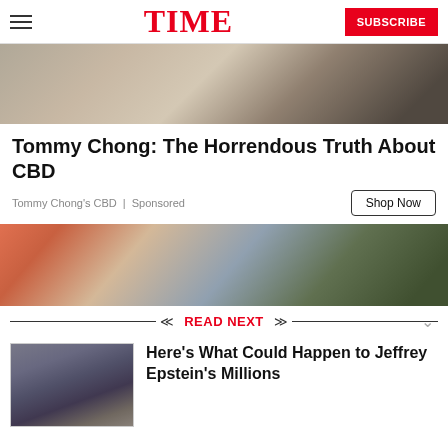TIME | SUBSCRIBE
[Figure (photo): Partial view of a person with blonde hair and dark jacket, background cut off at top]
Tommy Chong: The Horrendous Truth About CBD
Tommy Chong's CBD | Sponsored
[Figure (photo): Person on a ladder working with gutter, holding a device, greenery in background]
READ NEXT
[Figure (photo): Exterior of a multi-story building with ornate facade and entrance]
Here's What Could Happen to Jeffrey Epstein's Millions